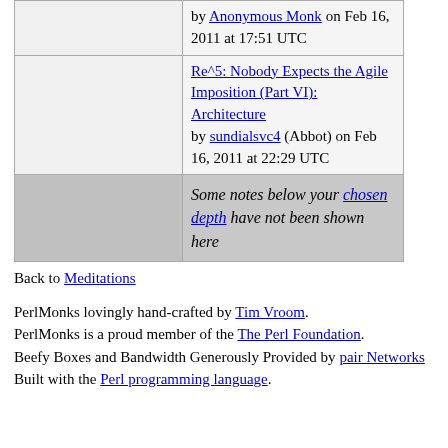|  | by Anonymous Monk on Feb 16, 2011 at 17:51 UTC |
|  | Re^5: Nobody Expects the Agile Imposition (Part VI): Architecture
by sundialsvc4 (Abbot) on Feb 16, 2011 at 22:29 UTC |
|  | Some notes below your chosen depth have not been shown here |
Back to Meditations
PerlMonks lovingly hand-crafted by Tim Vroom. PerlMonks is a proud member of the The Perl Foundation. Beefy Boxes and Bandwidth Generously Provided by pair Networks
Built with the Perl programming language.